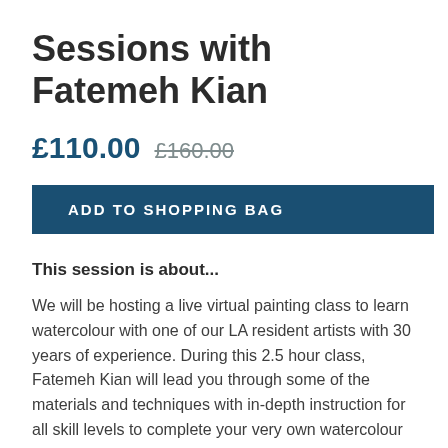Sessions with Fatemeh Kian
£110.00  £160.00
ADD TO SHOPPING BAG
This session is about...
We will be hosting a live virtual painting class to learn watercolour with one of our LA resident artists with 30 years of experience. During this 2.5 hour class, Fatemeh Kian will lead you through some of the materials and techniques with in-depth instruction for all skill levels to complete your very own watercolour painting. Please see the attached image to see the Jasmine flowers you will be